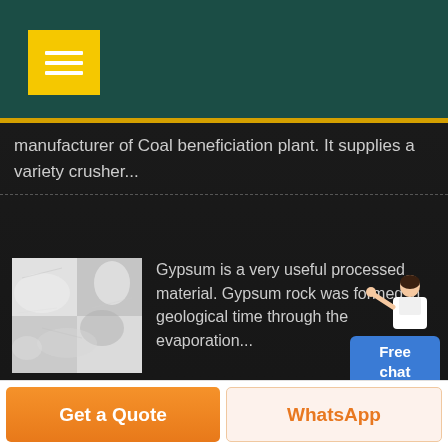[Figure (screenshot): Dark teal header bar with yellow hamburger menu button]
manufacturer of Coal beneficiation plant. It supplies a variety crusher...
[Figure (photo): White/grey gypsum rock mineral photo]
Gypsum is a very useful processed material. Gypsum rock was formed in geological time through the evaporation...
[Figure (photo): Yellowish silica sand/mineral photo]
Silica is the most abundant mineral found in the crust of the earth. Silica offers one of the most comprehensive...
[Figure (illustration): Free chat button with customer service person illustration]
Get a Quote
WhatsApp